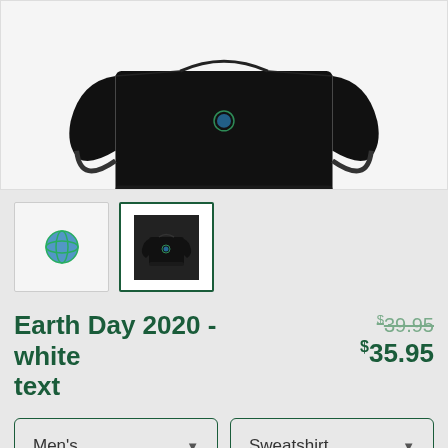[Figure (photo): Black crewneck sweatshirt folded, showing front with small Earth Day logo on chest, on white background]
[Figure (photo): Thumbnail 1: white background with Earth Day globe logo]
[Figure (photo): Thumbnail 2 (selected): black sweatshirt front view, selected with green border]
Earth Day 2020 - white text
$39.95 (original price, strikethrough) $35.95 (sale price)
Men's (dropdown) Sweatshirt (dropdown)
SELECT YOUR FIT